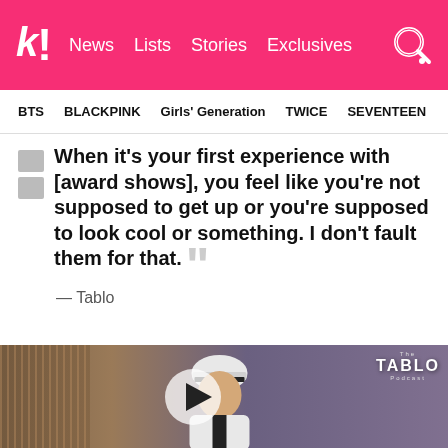k! News  Lists  Stories  Exclusives
BTS  BLACKPINK  Girls' Generation  TWICE  SEVENTEEN
When it's your first experience with [award shows], you feel like you're not supposed to get up or you're supposed to look cool or something. I don't fault them for that.
— Tablo
[Figure (screenshot): Video thumbnail showing a person wearing a white cap and white outfit, with a play button overlay. TABLO podcast logo visible in top right corner. Background shows a room with vertical wood panel detail on left and purple/grey wall on right.]